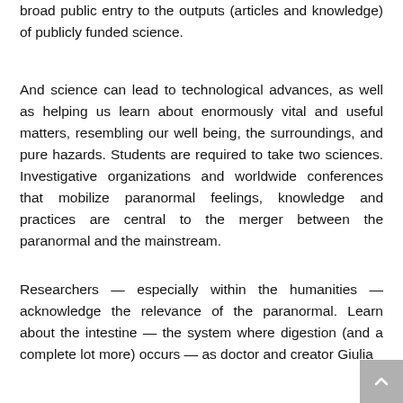broad public entry to the outputs (articles and knowledge) of publicly funded science.
And science can lead to technological advances, as well as helping us learn about enormously vital and useful matters, resembling our well being, the surroundings, and pure hazards. Students are required to take two sciences. Investigative organizations and worldwide conferences that mobilize paranormal feelings, knowledge and practices are central to the merger between the paranormal and the mainstream.
Researchers — especially within the humanities — acknowledge the relevance of the paranormal. Learn about the intestine — the system where digestion (and a complete lot more) occurs — as doctor and creator Giulia